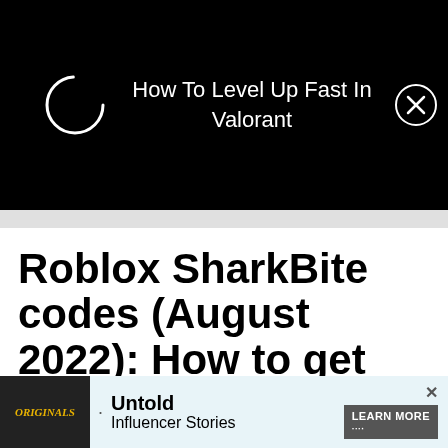[Figure (screenshot): Black ad banner with a loading spinner circle on the left, text 'How To Level Up Fast In Valorant' in the center, and a close (X) button on the right]
Roblox SharkBite codes (August 2022): How to get free Shark Teeth
Jessica Filby . Last updated: Aug 29, 2022
GAMING
ROBLOX
[Figure (screenshot): Bottom advertisement banner showing Originals logo on dark background, bullet point, 'Untold Influencer Stories' text, and a 'LEARN MORE' button on blue-tinted background, with X close button]